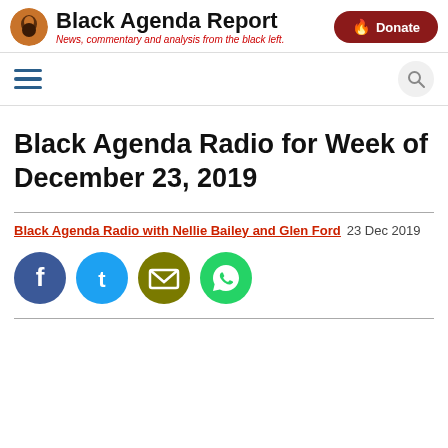Black Agenda Report — News, commentary and analysis from the black left.
Black Agenda Radio for Week of December 23, 2019
Black Agenda Radio with Nellie Bailey and Glen Ford  23 Dec 2019
[Figure (other): Social share icons: Facebook, Twitter, Email, WhatsApp]